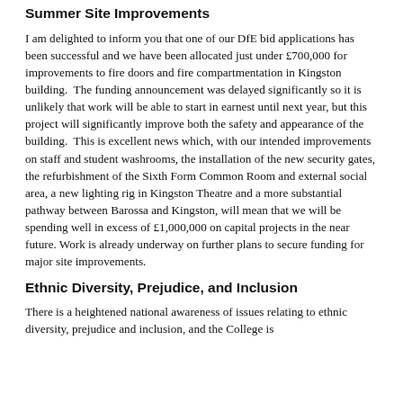Summer Site Improvements
I am delighted to inform you that one of our DfE bid applications has been successful and we have been allocated just under £700,000 for improvements to fire doors and fire compartmentation in Kingston building.  The funding announcement was delayed significantly so it is unlikely that work will be able to start in earnest until next year, but this project will significantly improve both the safety and appearance of the building.  This is excellent news which, with our intended improvements on staff and student washrooms, the installation of the new security gates, the refurbishment of the Sixth Form Common Room and external social area, a new lighting rig in Kingston Theatre and a more substantial pathway between Barossa and Kingston, will mean that we will be spending well in excess of £1,000,000 on capital projects in the near future.  Work is already underway on further plans to secure funding for major site improvements.
Ethnic Diversity, Prejudice, and Inclusion
There is a heightened national awareness of issues relating to ethnic diversity, prejudice and inclusion, and the College is